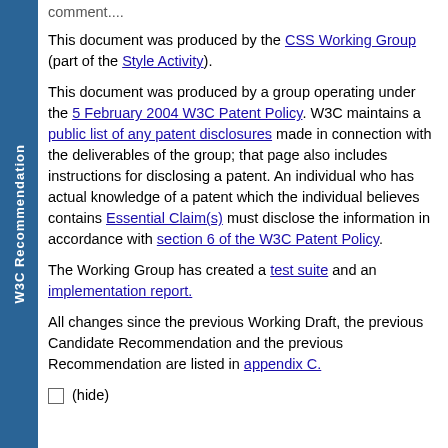comment....
This document was produced by the CSS Working Group (part of the Style Activity).
This document was produced by a group operating under the 5 February 2004 W3C Patent Policy. W3C maintains a public list of any patent disclosures made in connection with the deliverables of the group; that page also includes instructions for disclosing a patent. An individual who has actual knowledge of a patent which the individual believes contains Essential Claim(s) must disclose the information in accordance with section 6 of the W3C Patent Policy.
The Working Group has created a test suite and an implementation report.
All changes since the previous Working Draft, the previous Candidate Recommendation and the previous Recommendation are listed in appendix C.
(hide)